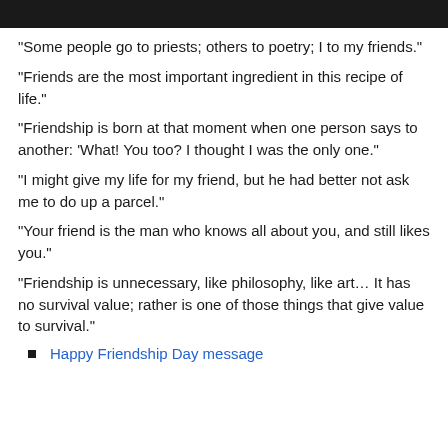[Figure (photo): Dark image at the top of the page, partially visible]
“Some people go to priests; others to poetry; I to my friends.”
“Friends are the most important ingredient in this recipe of life.”
“Friendship is born at that moment when one person says to another: ‘What! You too? I thought I was the only one.”
“I might give my life for my friend, but he had better not ask me to do up a parcel.”
“Your friend is the man who knows all about you, and still likes you.”
“Friendship is unnecessary, like philosophy, like art… It has no survival value; rather is one of those things that give value to survival.”
Happy Friendship Day message